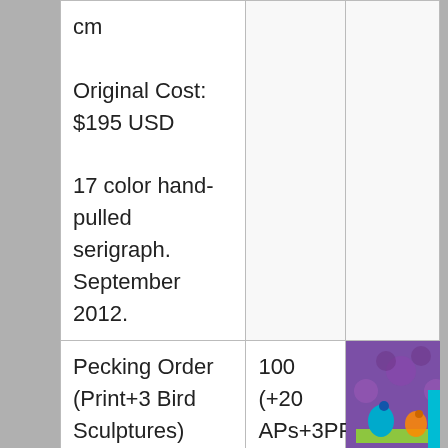| cm

Original Cost: $195 USD

17 color hand-pulled serigraph. September 2012. |  |  |
| Pecking Order (Print+3 Bird Sculptures)

Size: 58.4 x 40.6 cm | 100 (+20 APs+3PPs) | [image] |